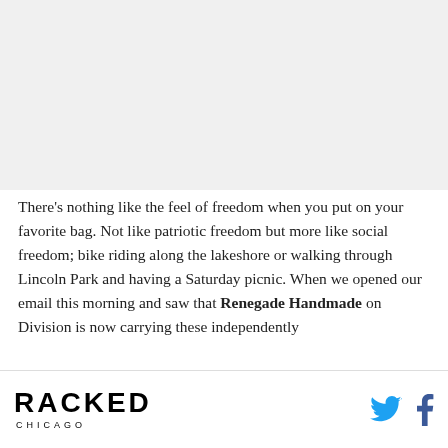[Figure (photo): Image placeholder at top of page]
There's nothing like the feel of freedom when you put on your favorite bag. Not like patriotic freedom but more like social freedom; bike riding along the lakeshore or walking through Lincoln Park and having a Saturday picnic. When we opened our email this morning and saw that Renegade Handmade on Division is now carrying these independently
RACKED CHICAGO